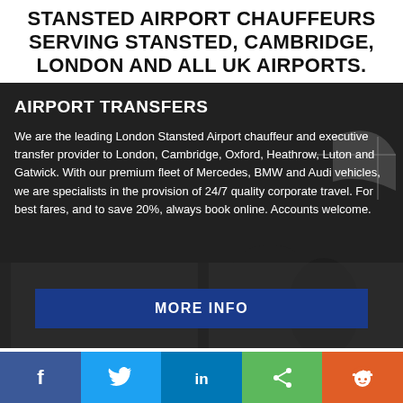STANSTED AIRPORT CHAUFFEURS SERVING STANSTED, CAMBRIDGE, LONDON AND ALL UK AIRPORTS.
AIRPORT TRANSFERS
We are the leading London Stansted Airport chauffeur and executive transfer provider to London, Cambridge, Oxford, Heathrow, Luton and Gatwick. With our premium fleet of Mercedes, BMW and Audi vehicles, we are specialists in the provision of 24/7 quality corporate travel. For best fares, and to save 20%, always book online. Accounts welcome.
MORE INFO
[Figure (infographic): Social media share bar with Facebook, Twitter, LinkedIn, Share, and Reddit buttons]